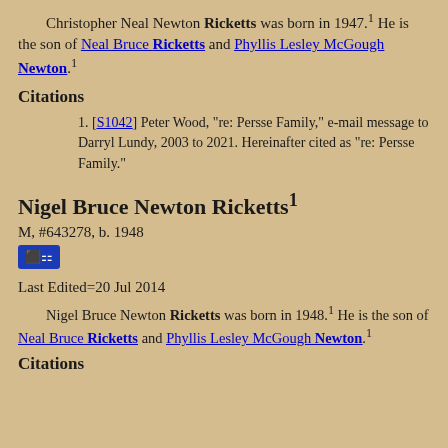Christopher Neal Newton Ricketts was born in 1947.1 He is the son of Neal Bruce Ricketts and Phyllis Lesley McGough Newton.1
Citations
[S1042] Peter Wood, "re: Persse Family," e-mail message to Darryl Lundy, 2003 to 2021. Hereinafter cited as "re: Persse Family."
Nigel Bruce Newton Ricketts1
M, #643278, b. 1948
[Figure (other): Blue icon button with network/hierarchy diagram symbol]
Last Edited=20 Jul 2014
Nigel Bruce Newton Ricketts was born in 1948.1 He is the son of Neal Bruce Ricketts and Phyllis Lesley McGough Newton.1
Citations